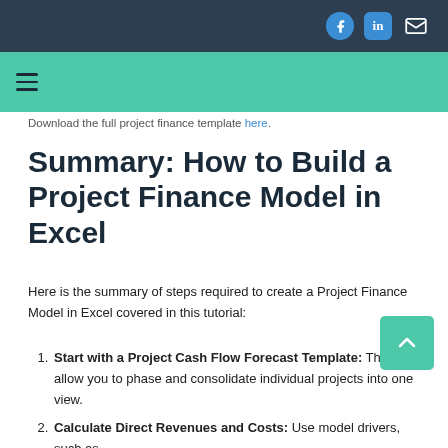Download the full project finance template here.
Summary: How to Build a Project Finance Model in Excel
Here is the summary of steps required to create a Project Finance Model in Excel covered in this tutorial:
Start with a Project Cash Flow Forecast Template: This will allow you to phase and consolidate individual projects into one view.
Calculate Direct Revenues and Costs: Use model drivers, such as